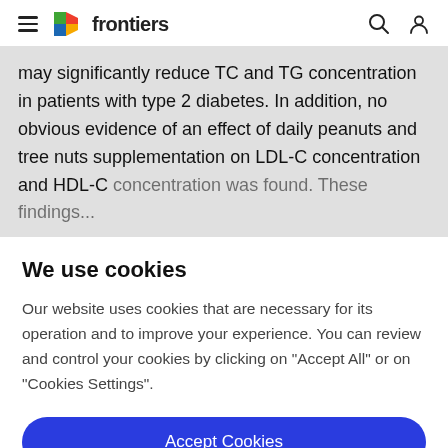frontiers
may significantly reduce TC and TG concentration in patients with type 2 diabetes. In addition, no obvious evidence of an effect of daily peanuts and tree nuts supplementation on LDL-C concentration and HDL-C concentration was found. These findings...
We use cookies
Our website uses cookies that are necessary for its operation and to improve your experience. You can review and control your cookies by clicking on "Accept All" or on "Cookies Settings".
Accept Cookies
Cookies Settings